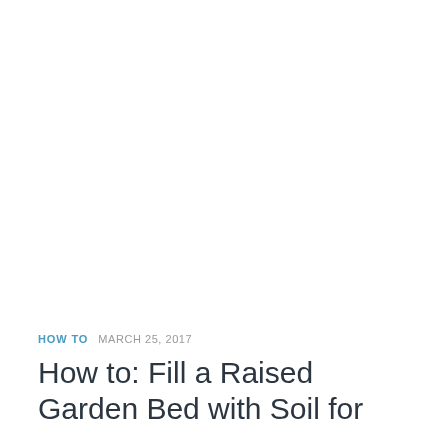HOW TO  MARCH 25, 2017
How to: Fill a Raised Garden Bed with Soil for